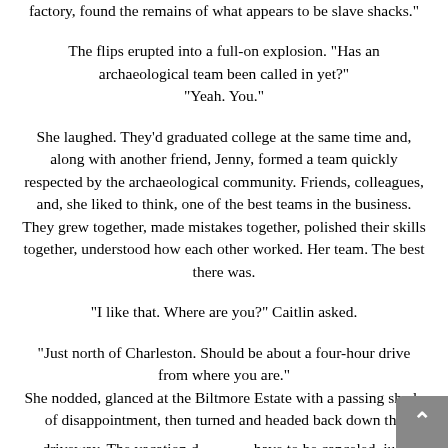factory, found the remains of what appears to be slave shacks."
The flips erupted into a full-on explosion. "Has an archaeological team been called in yet?" "Yeah. You."
She laughed. They'd graduated college at the same time and, along with another friend, Jenny, formed a team quickly respected by the archaeological community. Friends, colleagues, and, she liked to think, one of the best teams in the business. They grew together, made mistakes together, polished their skills together, understood how each other worked. Her team. The best there was.
"I like that. Where are you?" Caitlin asked.
"Just north of Charleston. Should be about a four-hour drive from where you are." She nodded, glanced at the Biltmore Estate with a passing shade of disappointment, then turned and headed back down the driveway. The vacation d— have to be canceled, just postponed. "I'm far t—